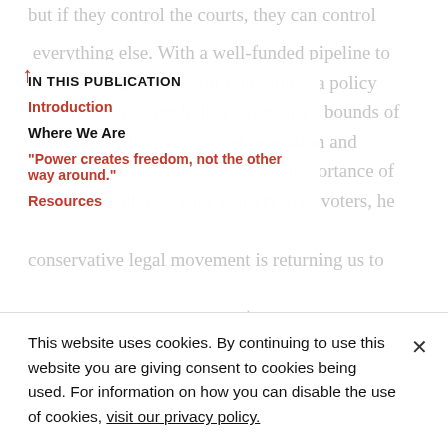but if they control the courts, they can control everything else. With a well-funded pipeline to groom young lawyers for judgeships, a policy infrastructure to push the conservative bounds of laws and regulations, a voter education and mobilization structure to raise the importance of the courts with everyday conservative voters, the conservative legal movement is returning us to
IN THIS PUBLICATION
Introduction
Where We Are
“Power creates freedom, not the other way around.”
Resources
This website uses cookies. By continuing to use this website you are giving consent to cookies being used. For information on how you can disable the use of cookies, visit our privacy policy.